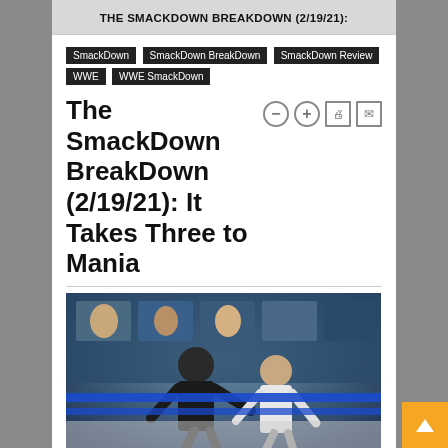THE SMACKDOWN BREAKDOWN (2/19/21):
SmackDown
SmackDown BreakDown
SmackDown Review
WWE
WWE SmackDown
The SmackDown BreakDown (2/19/21): It Takes Three to Mania
[Figure (photo): Wrestling match scene in a ring with blue ropes, two wrestlers, with audience screens in the background]
I know we're all expecting Edge vs. Roman Reigns at WrestleMania 37, but I'm pretty sure we're all low-key wishing it will be Edge vs. Daniel Bryan. Tell me I'm not the only one.